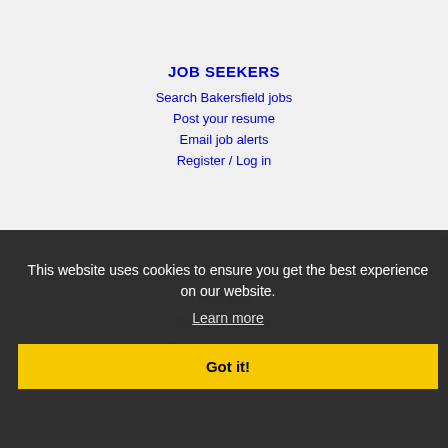JOB SEEKERS
Search Bakersfield jobs
Post your resume
Email job alerts
Register / Log in
This website uses cookies to ensure you get the best experience on our website.
Learn more
Got it!
Post jobs
Search resumes
Email resume alerts
Advertise